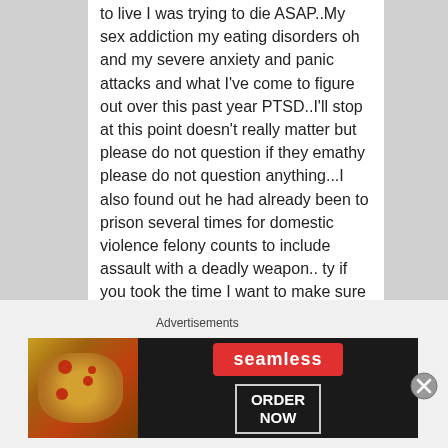to live I was trying to die ASAP..My sex addiction my eating disorders oh and my severe anxiety and panic attacks and what I've come to figure out over this past year PTSD..I'll stop at this point doesn't really matter but please do not question if they emathy please do not question anything...I also found out he had already been to prison several times for domestic violence felony counts to include assault with a deadly weapon.. ty if you took the time I want to make sure I discredit any notion the original post may have planted peace out
Advertisements
[Figure (photo): Seamless food delivery advertisement banner with pizza image on left, Seamless logo in red, and ORDER NOW button on right, all on dark background]